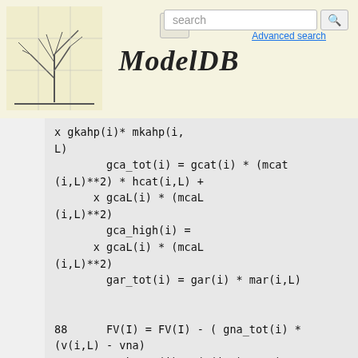[Figure (logo): ModelDB website header with tree logo, menu icon, search bar, and italic ModelDB title]
x gkahp(i)* mkahp(i,L)
        gca_tot(i) = gcat(i) * (mcat(i,L)**2) * hcat(i,L) +
      x              gcaL(i) * (mcaL(i,L)**2)
        gca_high(i) =
      x              gcaL(i) * (mcaL(i,L)**2)
        gar_tot(i) = gar(i) * mar(i,L)

88      FV(I) = FV(I) - ( gna_tot(i) *(v(i,L) - vna)
      X + gk_tot(i) * (v(i,L) - vK)
      X + gca_tot(i) * (v(i,L) - vCa)
      X + gar_tot(i) * (v(i,L) - var)
) * cinv(i)

        do i = 1, numcomp